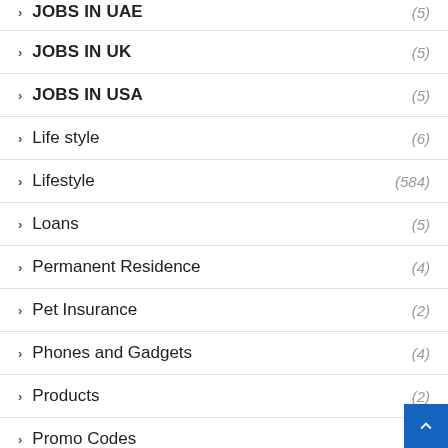JOBS IN UAE (5)
JOBS IN UK (5)
JOBS IN USA (5)
Life style (6)
Lifestyle (584)
Loans (5)
Permanent Residence (4)
Pet Insurance (2)
Phones and Gadgets (4)
Products (2)
Promo Codes